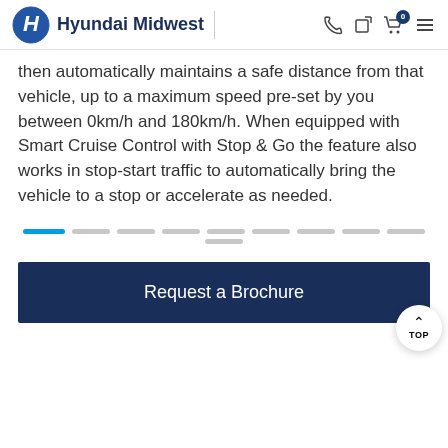Hyundai Midwest
then automatically maintains a safe distance from that vehicle, up to a maximum speed pre-set by you between 0km/h and 180km/h. When equipped with Smart Cruise Control with Stop & Go the feature also works in stop-start traffic to automatically bring the vehicle to a stop or accelerate as needed.
[Figure (other): Carousel navigation dots showing first dot active (blue) and remaining dots inactive (gray)]
Request a Brochure